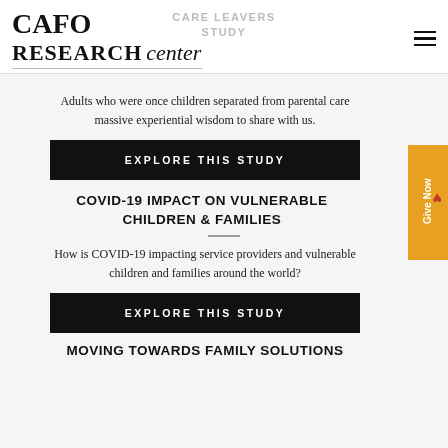[Figure (logo): CAFO Research Center logo with stylized text]
CARE LEAVERS STUDY
Adults who were once children separated from parental care massive experiential wisdom to share with us.
EXPLORE THIS STUDY
COVID-19 IMPACT ON VULNERABLE CHILDREN & FAMILIES
How is COVID-19 impacting service providers and vulnerable children and families around the world?
EXPLORE THIS STUDY
MOVING TOWARDS FAMILY SOLUTIONS